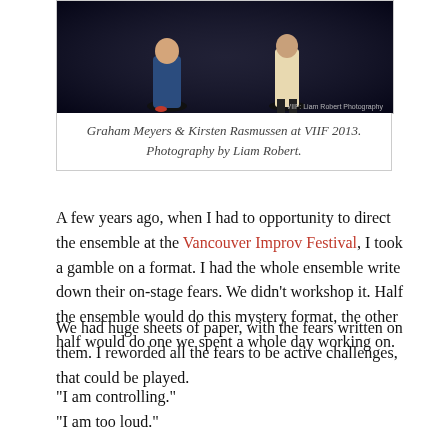[Figure (photo): Two performers on a dark stage, one in a blue jacket, one in a light dress. Watermark: 'VIIF: Liam Robert Photography']
Graham Meyers & Kirsten Rasmussen at VIIF 2013. Photography by Liam Robert.
A few years ago, when I had to opportunity to direct the ensemble at the Vancouver Improv Festival, I took a gamble on a format. I had the whole ensemble write down their on-stage fears. We didn't workshop it. Half the ensemble would do this mystery format, the other half would do one we spent a whole day working on.
We had huge sheets of paper, with the fears written on them. I reworded all the fears to be active challenges, that could be played.
“I am controlling.”
“I am too loud.”
“I am blank.”
“I ask only questions.”
“I am too…”